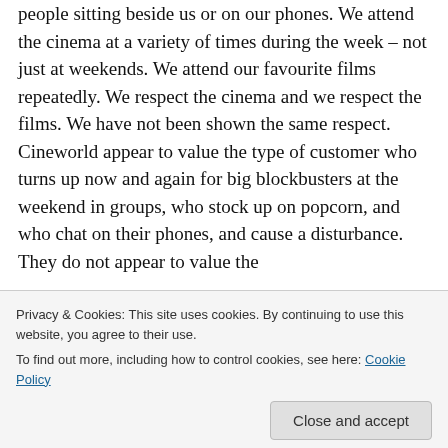people sitting beside us or on our phones. We attend the cinema at a variety of times during the week – not just at weekends. We attend our favourite films repeatedly. We respect the cinema and we respect the films. We have not been shown the same respect. Cineworld appear to value the type of customer who turns up now and again for big blockbusters at the weekend in groups, who stock up on popcorn, and who chat on their phones, and cause a disturbance. They do not appear to value the
Privacy & Cookies: This site uses cookies. By continuing to use this website, you agree to their use.
To find out more, including how to control cookies, see here: Cookie Policy
the biggest problem is that being short (I'm 5 feet